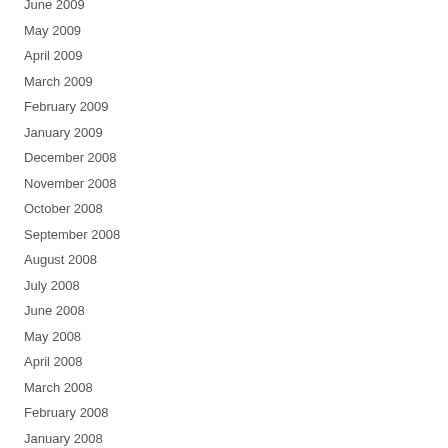June 2009
May 2009
April 2009
March 2009
February 2009
January 2009
December 2008
November 2008
October 2008
September 2008
August 2008
July 2008
June 2008
May 2008
April 2008
March 2008
February 2008
January 2008